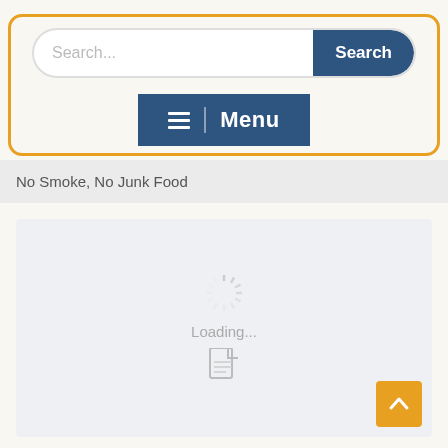[Figure (screenshot): Search bar with text input placeholder 'Search...' and a blue rounded 'Search' button on the right. Surrounded by orange border outline. Below is a dark blue Menu button with hamburger icon and text 'Menu'.]
No Smoke, No Junk Food
[Figure (screenshot): Light gray content area showing a loading spinner icon and 'Loading...' text with a document file icon below.]